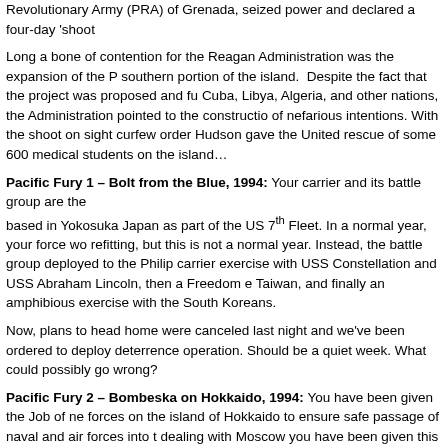Revolutionary Army (PRA) of Grenada, seized power and declared a four-day 'shoot...
Long a bone of contention for the Reagan Administration was the expansion of the P southern portion of the island. Despite the fact that the project was proposed and fu Cuba, Libya, Algeria, and other nations, the Administration pointed to the constructio of nefarious intentions. With the shoot on sight curfew order Hudson gave the United rescue of some 600 medical students on the island…
Pacific Fury 1 – Bolt from the Blue, 1994: Your carrier and its battle group are the based in Yokosuka Japan as part of the US 7th Fleet. In a normal year, your force wo refitting, but this is not a normal year. Instead, the battle group deployed to the Philip carrier exercise with USS Constellation and USS Abraham Lincoln, then a Freedom e Taiwan, and finally an amphibious exercise with the South Koreans.
Now, plans to head home were canceled last night and we've been ordered to deploy deterrence operation. Should be a quiet week. What could possibly go wrong?
Pacific Fury 2 – Bombeska on Hokkaido, 1994: You have been given the Job of ne forces on the island of Hokkaido to ensure safe passage of naval and air forces into t dealing with Moscow you have been given this critical but secondary task. In London Russia we will call it the 'Bombeska'.
It won't be easy, especially when many of your assigned forces have separate chains objectives.
Pacific Fury 3 – Strait First Foot, 1994: Participates...